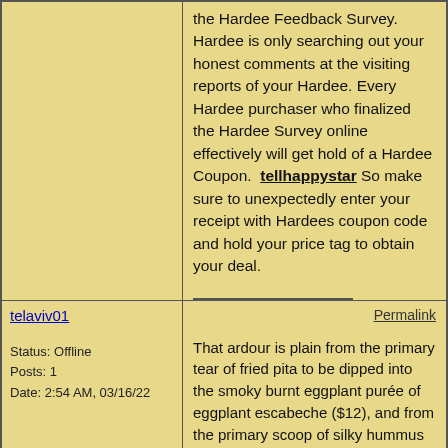the Hardee Feedback Survey. Hardee is only searching out your honest comments at the visiting reports of your Hardee. Every Hardee purchaser who finalized the Hardee Survey online effectively will get hold of a Hardee Coupon. tellhappystar So make sure to unexpectedly enter your receipt with Hardees coupon code and hold your price tag to obtain your deal.
telaviv01
Status: Offline
Posts: 1
Date: 2:54 AM, 03/16/22
Permalink
That ardour is plain from the primary tear of fried pita to be dipped into the smoky burnt eggplant purée of eggplant escabeche ($12), and from the primary scoop of silky hummus crowned with ducknduja and smelly Jerusalem spice ($13).Best Restaurants in Los Angeles It keeps with the arrival of one of the nice dishes of the night, a whipped foie gras halva ($21), where a clean pâté arrived